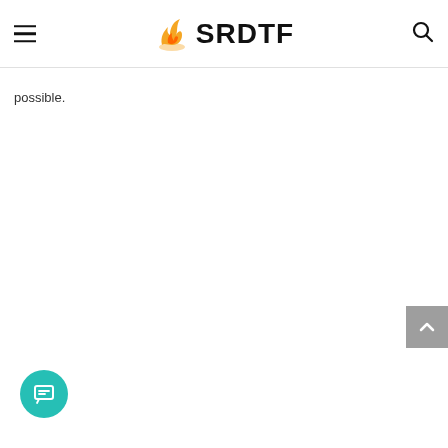SRDTF
possible.
[Figure (other): Back to top button (gray arrow up)]
[Figure (other): Chat/message button (teal circle with message icon)]